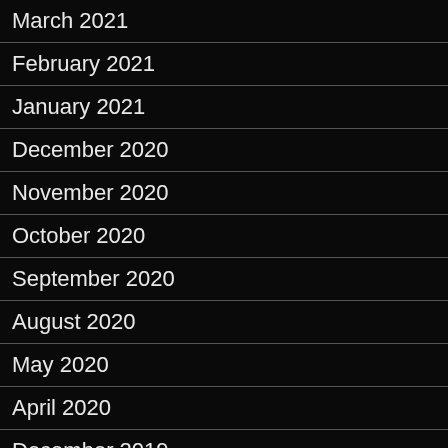March 2021
February 2021
January 2021
December 2020
November 2020
October 2020
September 2020
August 2020
May 2020
April 2020
December 2019
November 2019
October 2019